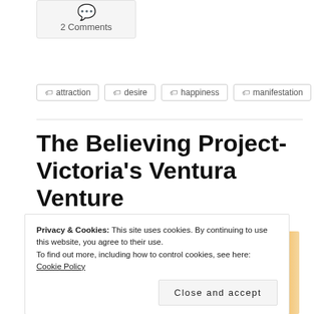2 Comments
attraction
desire
happiness
manifestation
The Believing Project- Victoria's Ventura Venture
[Figure (photo): Dark reddish-orange image preview, possibly fireworks or a night scene]
Privacy & Cookies: This site uses cookies. By continuing to use this website, you agree to their use. To find out more, including how to control cookies, see here: Cookie Policy
Close and accept